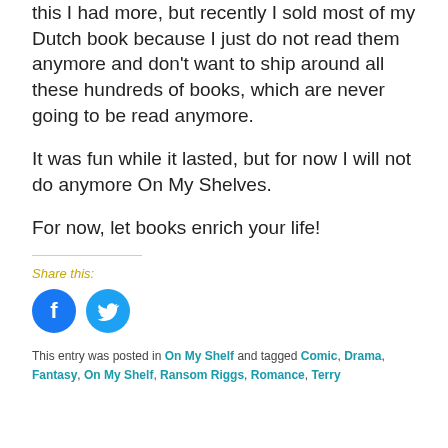this I had more, but recently I sold most of my Dutch book because I just do not read them anymore and don't want to ship around all these hundreds of books, which are never going to be read anymore.
It was fun while it lasted, but for now I will not do anymore On My Shelves.
For now, let books enrich your life!
Share this:
[Figure (other): Facebook and Twitter social share icon buttons (circular blue icons)]
This entry was posted in On My Shelf and tagged Comic, Drama, Fantasy, On My Shelf, Ransom Riggs, Romance, Terry